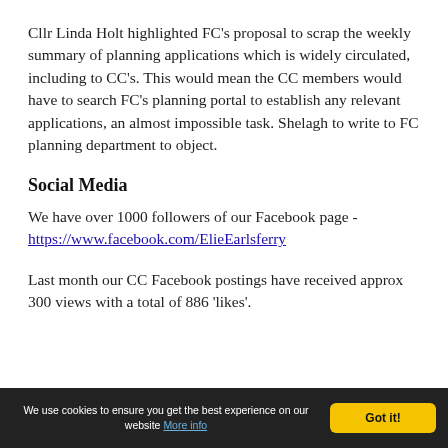Cllr Linda Holt highlighted FC's proposal to scrap the weekly summary of planning applications which is widely circulated, including to CC's. This would mean the CC members would have to search FC's planning portal to establish any relevant applications, an almost impossible task. Shelagh to write to FC planning department to object.
Social Media
We have over 1000 followers of our Facebook page - https://www.facebook.com/ElieEarlsferry
Last month our CC Facebook postings have received approx 300 views with a total of 886 'likes'.
We use cookies to ensure you get the best experience on our website More info